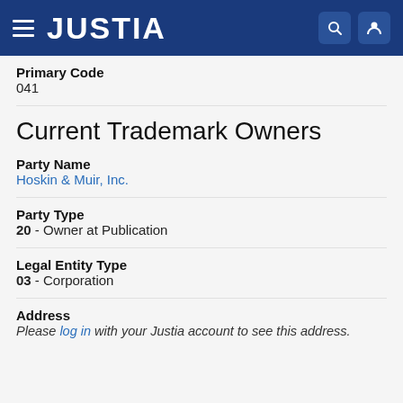JUSTIA
Primary Code
041
Current Trademark Owners
Party Name
Hoskin & Muir, Inc.
Party Type
20 - Owner at Publication
Legal Entity Type
03 - Corporation
Address
Please log in with your Justia account to see this address.